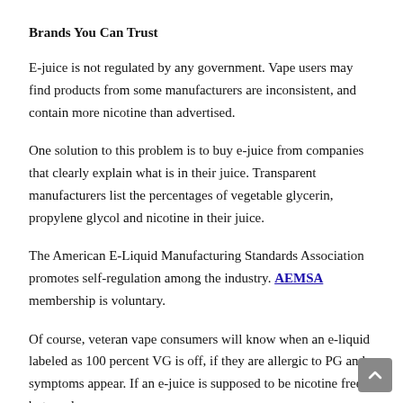Brands You Can Trust
E-juice is not regulated by any government. Vape users may find products from some manufacturers are inconsistent, and contain more nicotine than advertised.
One solution to this problem is to buy e-juice from companies that clearly explain what is in their juice. Transparent manufacturers list the percentages of vegetable glycerin, propylene glycol and nicotine in their juice.
The American E-Liquid Manufacturing Standards Association promotes self-regulation among the industry. AEMSA membership is voluntary.
Of course, veteran vape consumers will know when an e-liquid labeled as 100 percent VG is off, if they are allergic to PG and symptoms appear. If an e-juice is supposed to be nicotine free, but produces a